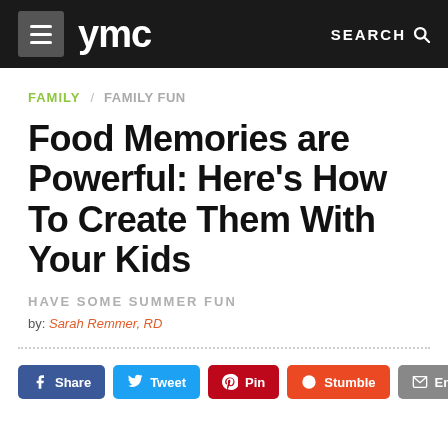ymc  SEARCH
FAMILY  FAMILY FUN
Food Memories are Powerful: Here's How To Create Them With Your Kids
HAVE SOME SUMMER FUN
by: Sarah Remmer, RD
Share  Tweet  Pin  Stumble  Email